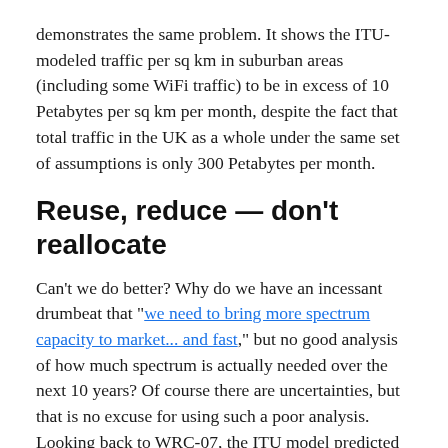demonstrates the same problem. It shows the ITU-modeled traffic per sq km in suburban areas (including some WiFi traffic) to be in excess of 10 Petabytes per sq km per month, despite the fact that total traffic in the UK as a whole under the same set of assumptions is only 300 Petabytes per month.
Reuse, reduce — don't reallocate
Can't we do better? Why do we have an incessant drumbeat that "we need to bring more spectrum capacity to market... and fast," but no good analysis of how much spectrum is actually needed over the next 10 years? Of course there are uncertainties, but that is no excuse for using such a poor analysis. Looking back to WRC-07, the ITU model predicted that between 760 and 840MHz would be needed by 2010 to accommodate expected demand. However, no country in the world has deployed